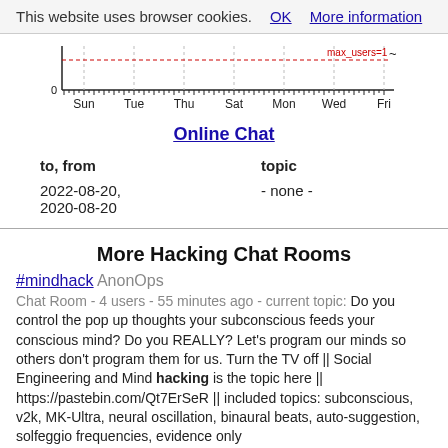This website uses browser cookies. OK More information
[Figure (other): A timeline/activity chart showing user activity over days of the week (Sun, Tue, Thu, Sat, Mon, Wed, Fri) with a label 'max_users=1' in red near the top right. The x-axis shows 0 at the left.]
Online Chat
| to, from | topic |
| --- | --- |
| 2022-08-20, 2020-08-20 | - none - |
More Hacking Chat Rooms
#mindhack AnonOps
Chat Room - 4 users - 55 minutes ago - current topic: Do you control the pop up thoughts your subconscious feeds your conscious mind? Do you REALLY? Let's program our minds so others don't program them for us. Turn the TV off || Social Engineering and Mind hacking is the topic here || https://pastebin.com/Qt7ErSeR || included topics: subconscious, v2k, MK-Ultra, neural oscillation, binaural beats, auto-suggestion, solfeggio frequencies, evidence only